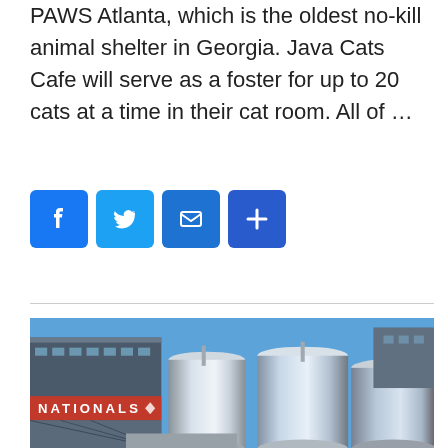PAWS Atlanta, which is the oldest no-kill animal shelter in Georgia. Java Cats Cafe will serve as a foster for up to 20 cats at a time in their cat room. All of …
[Figure (infographic): Four social sharing buttons: Facebook (blue, F icon), Twitter (light blue, bird icon), Email (blue, envelope icon), Share/More (blue, plus icon)]
[Figure (photo): Photograph of large stainless steel brewery tanks in front of a building with 'NATIONALS' signage visible, under a clear blue sky]